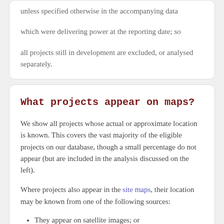unless specified otherwise in the accompanying data
which were delivering power at the reporting date; so
all projects still in development are excluded, or analysed separately.
What projects appear on maps?
We show all projects whose actual or approximate location is known. This covers the vast majority of the eligible projects on our database, though a small percentage do not appear (but are included in the analysis discussed on the left).
Where projects also appear in the site maps, their location may be known from one of the following sources:
They appear on satellite images; or